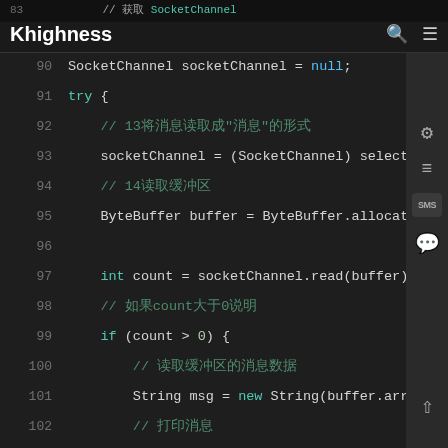Khighness   public void readMessage(SelectionKey selectionKey)
[Figure (screenshot): Dark-themed code editor showing Java code for readMessage method, lines 89-107, with syntax highlighting on dark background.]